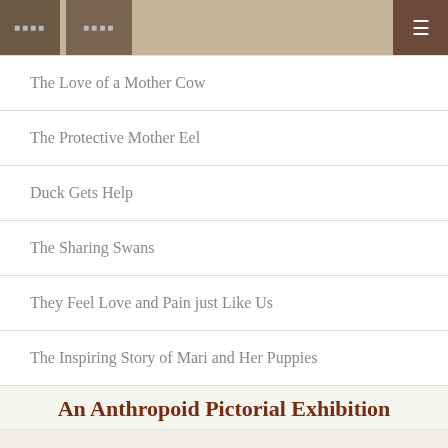Navigation bar with menu buttons
The Love of a Mother Cow
The Protective Mother Eel
Duck Gets Help
The Sharing Swans
They Feel Love and Pain just Like Us
The Inspiring Story of Mari and Her Puppies
An Anthropoid Pictorial Exhibition